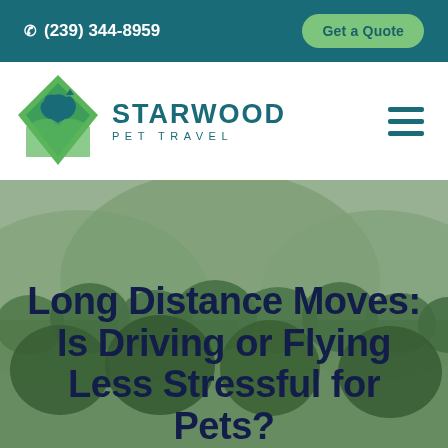(239) 344-8959 | Get a Quote
[Figure (logo): Starwood Pet Travel logo with green diamond shape containing dog and cat silhouettes, and text STARWOOD PET TRAVEL]
Long Distance Moves: Is Driving or Flying Less Stressful for Pets?